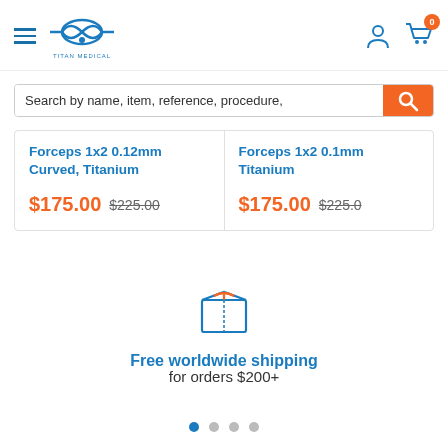[Figure (logo): Titan Medical logo with blue DNA/infinity symbol and text TITAN MEDICAL]
Search by name, item, reference, procedure,
Forceps 1x2 0.12mm Curved, Titanium
$175.00  $225.00
Forceps 1x2 0.1mm Titanium
$175.00  $225.00
[Figure (illustration): Blue outlined shipping box icon with orange tape on top]
Free worldwide shipping
for orders $200+